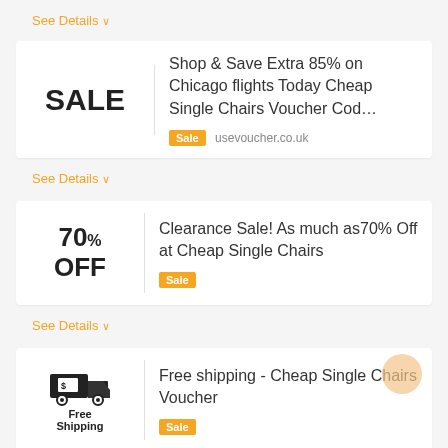See Details
[Figure (infographic): Sale card: SALE badge image on left, text 'Shop & Save Extra 85% on Chicago flights Today Cheap Single Chairs Voucher Cod...' with Sale badge and usevoucher.co.uk on right]
See Details
[Figure (infographic): Discount card: 70% OFF on left, 'Clearance Sale! As much as70% Off at Cheap Single Chairs' with Sale badge on right]
See Details
[Figure (infographic): Free shipping card: truck icon on left, 'Free shipping - Cheap Single Chairs Voucher' with Sale badge on right]